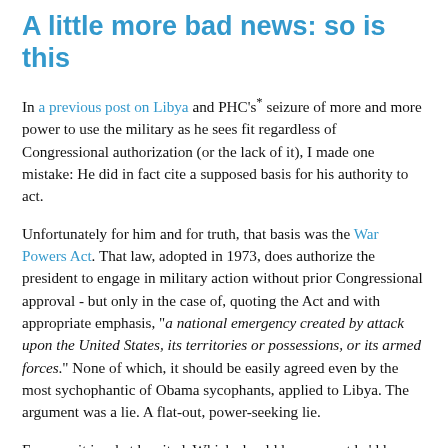A little more bad news: so is this
In a previous post on Libya and PHC's* seizure of more and more power to use the military as he sees fit regardless of Congressional authorization (or the lack of it), I made one mistake: He did in fact cite a supposed basis for his authority to act.
Unfortunately for him and for truth, that basis was the War Powers Act. That law, adopted in 1973, does authorize the president to engage in military action without prior Congressional approval - but only in the case of, quoting the Act and with appropriate emphasis, "a national emergency created by attack upon the United States, its territories or possessions, or its armed forces." None of which, it should be easily agreed even by the most sychophantic of Obama sycophants, applied to Libya. The argument was a lie. A flat-out, power-seeking lie.
Even so, it is what he cited. Which should have meant he'd have to live with it. But the Act has another provision: That authorization is only good for 60 days, after which, again